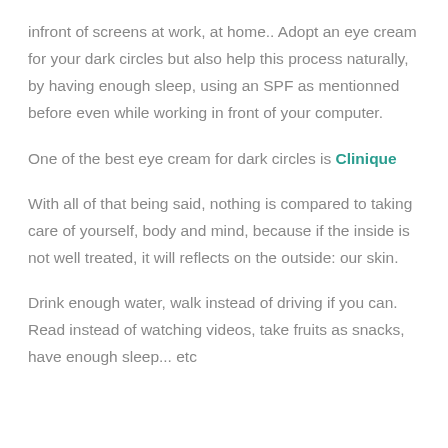infront of screens at work, at home.. Adopt an eye cream for your dark circles but also help this process naturally, by having enough sleep, using an SPF as mentionned before even while working in front of your computer.
One of the best eye cream for dark circles is Clinique
With all of that being said, nothing is compared to taking care of yourself, body and mind, because if the inside is not well treated, it will reflects on the outside: our skin.
Drink enough water, walk instead of driving if you can. Read instead of watching videos, take fruits as snacks, have enough sleep... etc